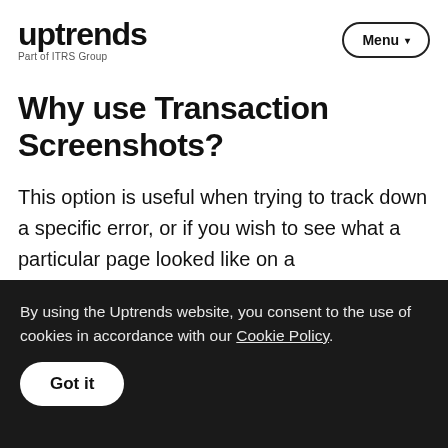uptrends — Part of ITRS Group | Menu
Why use Transaction Screenshots?
This option is useful when trying to track down a specific error, or if you wish to see what a particular page looked like on a
By using the Uptrends website, you consent to the use of cookies in accordance with our Cookie Policy.
Got it